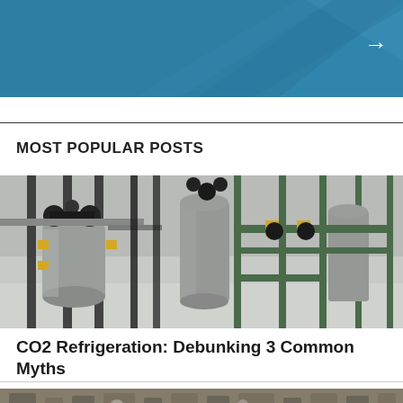[Figure (photo): Blue banner with geometric triangle shapes and a white arrow pointing right]
MOST POPULAR POSTS
[Figure (photo): Industrial CO2 refrigeration system with pipes, valves and cylinders in a mechanical room]
CO2 Refrigeration: Debunking 3 Common Myths
[Figure (photo): Industrial refrigeration equipment and machinery in a facility]